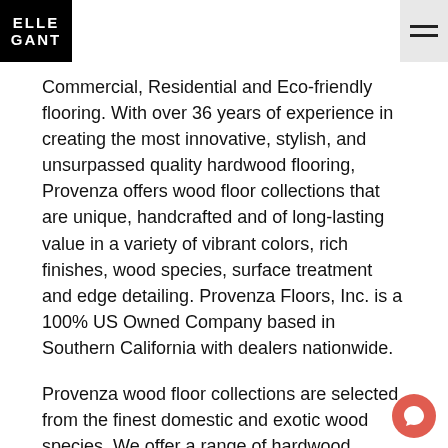ELLE GANT
Commercial, Residential and Eco-friendly flooring. With over 36 years of experience in creating the most innovative, stylish, and unsurpassed quality hardwood flooring, Provenza offers wood floor collections that are unique, handcrafted and of long-lasting value in a variety of vibrant colors, rich finishes, wood species, surface treatment and edge detailing. Provenza Floors, Inc. is a 100% US Owned Company based in Southern California with dealers nationwide.
Provenza wood floor collections are selected from the finest domestic and exotic wood species. We offer a range of hardwood flooring designs from handsculpted, handscraped, hand distressed, and rustic surfaces to more smooth